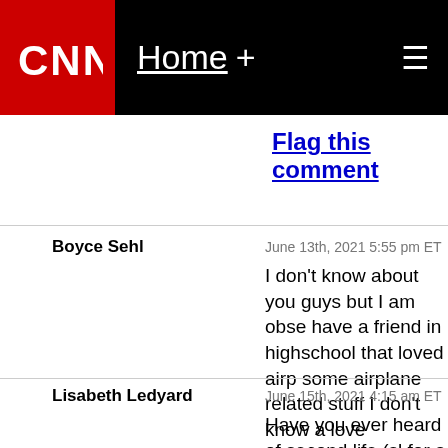CNN | Home +
Flag this comment
Boyce Sehl — June 13th, 2021 5:55 pm ET — I don't know about you guys but I am obse have a friend in highschool that loved airp some airplane related stuff I don't know a love airplanes. I had a friend in highschoo so here are some airplane related stuff https://www.airlinereporter.com/2009/06/ livery-find-create-your-own/ http://adolit.blogspot.com/2005/01/respon responsibility.html
Flag this comment
Lisabeth Ledyard — June 15th, 2021 4:15 am ET — Have you ever heard of second life (sl for a video game where you can do anything